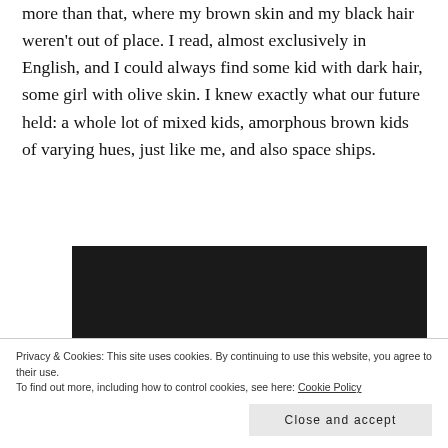more than that, where my brown skin and my black hair weren't out of place. I read, almost exclusively in English, and I could always find some kid with dark hair, some girl with olive skin. I knew exactly what our future held: a whole lot of mixed kids, amorphous brown kids of varying hues, just like me, and also space ships.
[Figure (screenshot): Dark/black background image block showing bottom portion with sensei logo and WordPress.com powered text]
Privacy & Cookies: This site uses cookies. By continuing to use this website, you agree to their use.
To find out more, including how to control cookies, see here: Cookie Policy
Close and accept